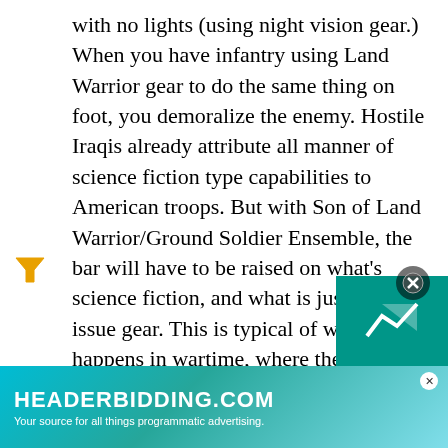with no lights (using night vision gear.) When you have infantry using Land Warrior gear to do the same thing on foot, you demoralize the enemy. Hostile Iraqis already attribute all manner of science fiction type capabilities to American troops. But with Son of Land Warrior/Ground Soldier Ensemble, the bar will have to be raised on what's science fiction, and what is just regular issue gear. This is typical of what happens in wartime, where the demand for better weapons and equipment, and a realistic place to test it, greatly accelerates the development and deployment of the new stuff.

The most insurmountable problem was a rather mundane one, battery power. Expected advances in battery technology did not appear, so even if all the technology worked, there was no way to carry suffi... user...
[Figure (other): Advertisement banner for HEADERBIDDING.COM with teal/cyan gradient background. Text reads 'HEADERBIDDING.COM' in large bold white letters and 'Your source for all things programmatic advertising.' in smaller white text. A teal box appears in the top right with a home/chart icon. A close button (X in circle) is overlaid. A yellow funnel/filter icon appears to the left of the ad.]